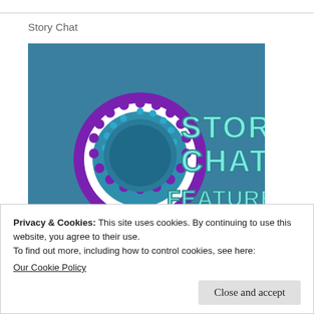Story Chat
[Figure (illustration): Story Chat Featured Blogger badge/ribbon illustration. Teal background with large text reading 'STORY CHAT' and 'FEATURED BLOGGER' in light blue block letters with teal outline. On the left side is a decorative rosette/ribbon in purple, white, and teal colors with a circular center.]
Privacy & Cookies: This site uses cookies. By continuing to use this website, you agree to their use.
To find out more, including how to control cookies, see here:
Our Cookie Policy
Close and accept